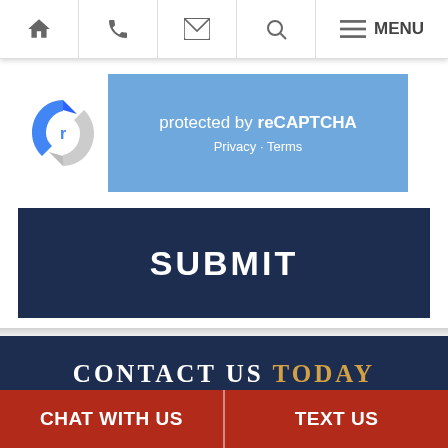[Figure (screenshot): Mobile website navigation bar with home, phone, email, search, and menu icons]
[Figure (logo): reCAPTCHA widget showing Google reCAPTCHA logo and badge with 'protected by reCAPTCHA', Privacy and Terms links on blue background]
SUBMIT
CONTACT US TODAY
* Name
* Email
CHAT WITH US | TEXT US